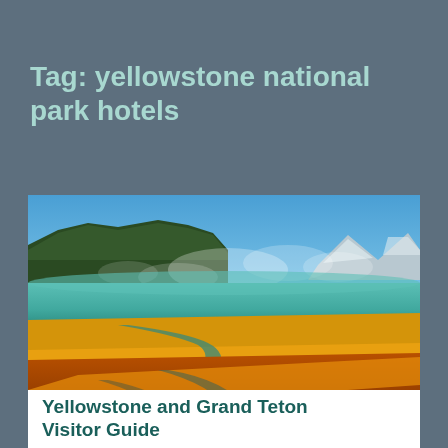Tag: yellowstone national park hotels
[Figure (photo): Aerial view of Grand Prismatic Spring at Yellowstone National Park, showing vivid orange and yellow mineral mats surrounding a teal-blue hot spring, with steam rising and forested hills and mountains in the background under a blue sky.]
Yellowstone and Grand Teton Visitor Guide